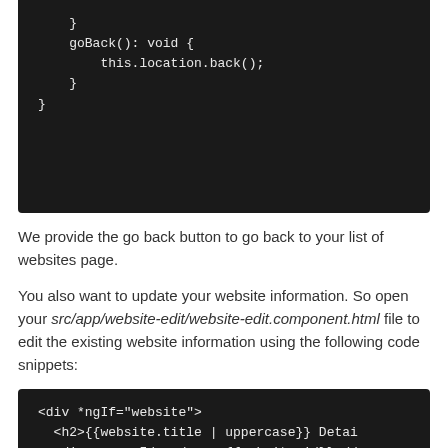}
    goBack(): void {
        this.location.back();
    }
}
We provide the go back button to go back to your list of websites page.
You also want to update your website information. So open your src/app/website-edit/website-edit.component.html file to edit the existing website information using the following code snippets:
<div *ngIf="website">
  <h2>{{website.title | uppercase}} Detai
  <div><span>Id: </span>{{website.id}}</d
  <div>
    <p>
    Title: <input [(ngModel)]="website.ti